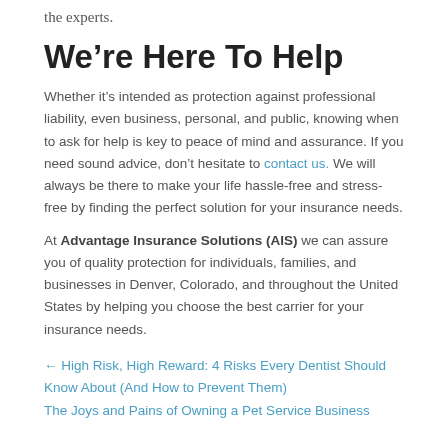the experts.
We're Here To Help
Whether it's intended as protection against professional liability, even business, personal, and public, knowing when to ask for help is key to peace of mind and assurance. If you need sound advice, don't hesitate to contact us. We will always be there to make your life hassle-free and stress-free by finding the perfect solution for your insurance needs.
At Advantage Insurance Solutions (AIS) we can assure you of quality protection for individuals, families, and businesses in Denver, Colorado, and throughout the United States by helping you choose the best carrier for your insurance needs.
← High Risk, High Reward: 4 Risks Every Dentist Should Know About (And How to Prevent Them)
The Joys and Pains of Owning a Pet Service Business